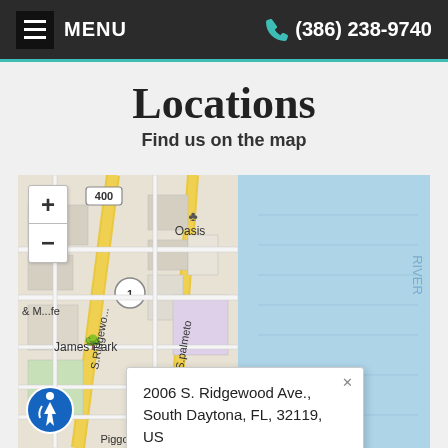MENU  (386) 238-9740
Locations
Find us on the map
[Figure (map): Interactive street map showing location at 2006 S. Ridgewood Ave., South Daytona, FL, 32119, US near Riverfront Memorial Park and James Park, with zoom controls and accessibility icon.]